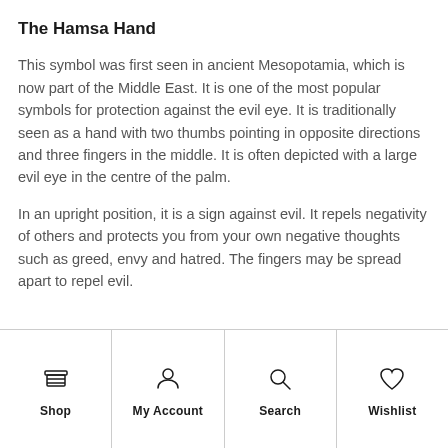The Hamsa Hand
This symbol was first seen in ancient Mesopotamia, which is now part of the Middle East. It is one of the most popular symbols for protection against the evil eye. It is traditionally seen as a hand with two thumbs pointing in opposite directions and three fingers in the middle. It is often depicted with a large evil eye in the centre of the palm.
In an upright position, it is a sign against evil. It repels negativity of others and protects you from your own negative thoughts such as greed, envy and hatred. The fingers may be spread apart to repel evil.
Shop | My Account | Search | Wishlist